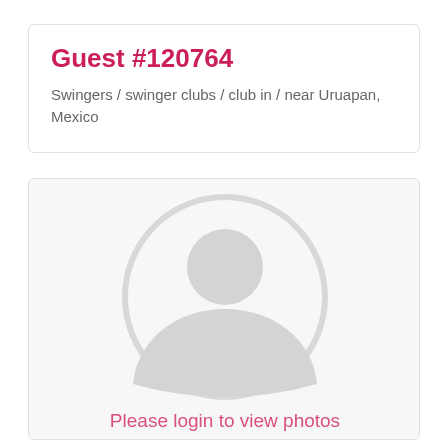Guest #120764
Swingers / swinger clubs / club in / near Uruapan, Mexico
[Figure (illustration): Default user avatar placeholder — a circular silhouette icon with a person outline in light gray, with the text 'Please login to view photos' overlaid in pink.]